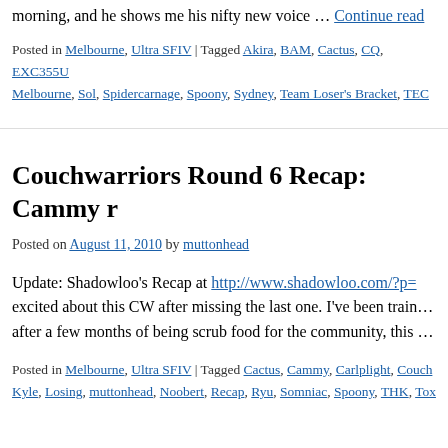morning, and he shows me his nifty new voice … Continue read...
Posted in Melbourne, Ultra SFIV | Tagged Akira, BAM, Cactus, CQ, EXC355U, Melbourne, Sol, Spidercarnage, Spoony, Sydney, Team Loser's Bracket, TEC...
Couchwarriors Round 6 Recap: Cammy r...
Posted on August 11, 2010 by muttonhead
Update: Shadowloo's Recap at http://www.shadowloo.com/?p=... excited about this CW after missing the last one. I've been train... after a few months of being scrub food for the community, this ...
Posted in Melbourne, Ultra SFIV | Tagged Cactus, Cammy, Carlplight, Couch... Kyle, Losing, muttonhead, Noobert, Recap, Ryu, Somniac, Spoony, THK, Tox...